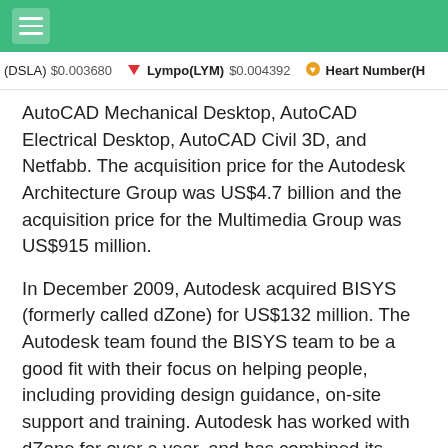(DSLA) $0.003680  Lympo(LYM) $0.004392  Heart Number(H...
AutoCAD Mechanical Desktop, AutoCAD Electrical Desktop, AutoCAD Civil 3D, and Netfabb. The acquisition price for the Autodesk Architecture Group was US$4.7 billion and the acquisition price for the Multimedia Group was US$915 million.
In December 2009, Autodesk acquired BISYS (formerly called dZone) for US$132 million. The Autodesk team found the BISYS team to be a good fit with their focus on helping people, including providing design guidance, on-site support and training. Autodesk has worked with dZone for over a year, and has combined its expertise with dZone's design software and training products.
In January 2011, Autodesk acquired the Danish software company PLM Software Solutions AS for